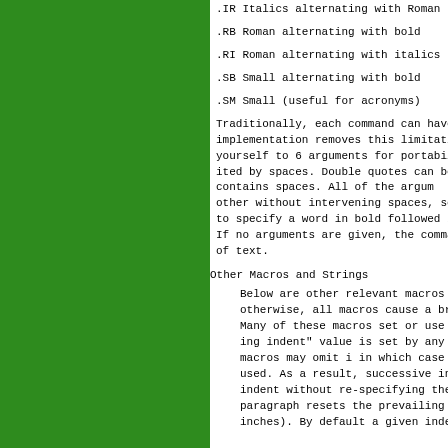.IR Italics alternating with Roman
.RB Roman alternating with bold
.RI Roman alternating with italics
.SB Small alternating with bold
.SM Small (useful for acronyms)
Traditionally, each command can have implementation removes this limitation yourself to 6 arguments for portabili- ited by spaces. Double quotes can be contains spaces. All of the argum- other without intervening spaces, so t to specify a word in bold followed b If no arguments are given, the command of text.
Other Macros and Strings
Below are other relevant macros and otherwise, all macros cause a break (e Many of these macros set or use the "p ing indent" value is set by any macr macros may omit i in which case the used. As a result, successive indente indent without re-specifying the inden paragraph resets the prevailing indent inches). By default a given indent i